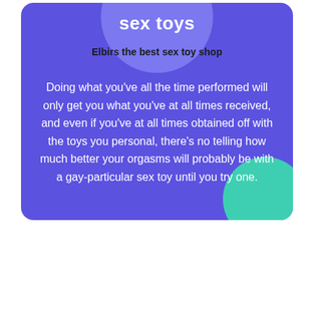sex toys
Elbirs the best sex toy shop
Doing what you've all the time performed will only get you what you've at all times received, and even if you've at all times obtained off with the toys you personal, there's no telling how much better your orgasms will probably be with a gay-particular sex toy until you try one.